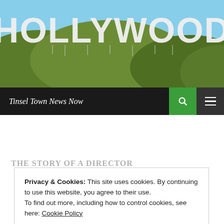[Figure (photo): Hollywood sign on hillside with blue sky and green hills in background]
Tinsel Town News Now
Tag Archives: Castor film
DIRECTOR, UNCATEGORIZED
Privacy & Cookies: This site uses cookies. By continuing to use this website, you agree to their use.
To find out more, including how to control cookies, see here: Cookie Policy
Close and accept